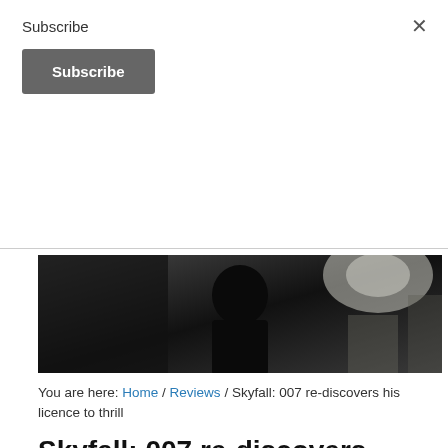Subscribe
Subscribe
[Figure (photo): Dark silhouette of a person against a muted background, movie still from Skyfall]
You are here: Home / Reviews / Skyfall: 007 re-discovers his licence to thrill
Skyfall: 007 re-discovers his licence to thrill
NOVEMBER 2, 2012 BY SEAN WILSON